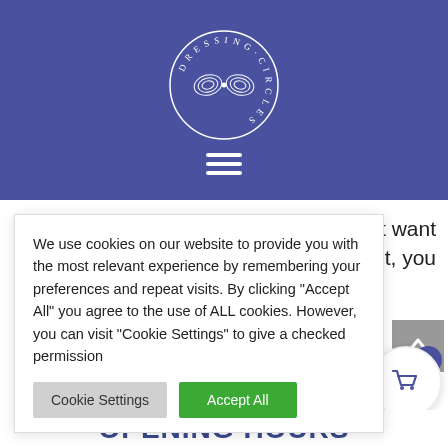[Figure (logo): Dressing Circles logo — circular design with decorative motif and text 'DRESSING CIRCLES' around the edge, white on purple background]
We use cookies on our website to provide you with the most relevant experience by remembering your preferences and repeat visits. By clicking "Accept All" you agree to the use of ALL cookies. However, you can visit "Cookie Settings" to give a checked permission
n't want face it, you
OPENING HOURS